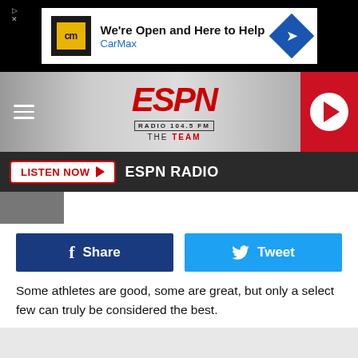[Figure (screenshot): CarMax advertisement banner: 'We're Open and Here to Help' with CarMax logo and navigation icon]
[Figure (logo): ESPN Radio 104.5 FM The Team logo header with hamburger menu and play button]
[Figure (screenshot): Listen Now button bar with ESPN Radio label on dark background]
[Figure (screenshot): Facebook Share and Twitter Tweet social sharing buttons]
Some athletes are good, some are great, but only a select few can truly be considered the best.
Most sports leagues, and events, have some version of a Hall of Fame. This is a location, either in-person or online, where the best in that sport are commemorated. They're remembered among their fellow legends, and their